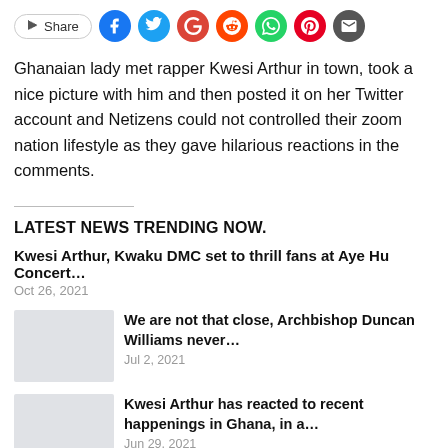[Figure (infographic): Social share bar with Share button and social media icons: Facebook, Twitter, Google, Reddit, WhatsApp, Pinterest, Email]
Ghanaian lady met rapper Kwesi Arthur in town, took a nice picture with him and then posted it on her Twitter account and Netizens could not controlled their zoom nation lifestyle as they gave hilarious reactions in the comments.
LATEST NEWS TRENDING NOW.
Kwesi Arthur, Kwaku DMC set to thrill fans at Aye Hu Concert…
Oct 26, 2021
[Figure (photo): Thumbnail image placeholder (light gray box)]
We are not that close, Archbishop Duncan Williams never…
Jul 2, 2021
[Figure (photo): Thumbnail image placeholder (light gray box)]
Kwesi Arthur has reacted to recent happenings in Ghana, in a…
Jun 29, 2021